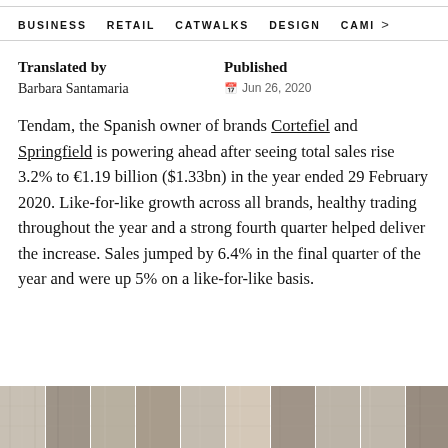BUSINESS   RETAIL   CATWALKS   DESIGN   CAMI >
Translated by
Barbara Santamaria
Published
Jun 26, 2020
Tendam, the Spanish owner of brands Cortefiel and Springfield is powering ahead after seeing total sales rise 3.2% to €1.19 billion ($1.33bn) in the year ended 29 February 2020. Like-for-like growth across all brands, healthy trading throughout the year and a strong fourth quarter helped deliver the increase. Sales jumped by 6.4% in the final quarter of the year and were up 5% on a like-for-like basis.
[Figure (photo): Bottom strip of a retail/store image, showing shelving and interior decor in muted tones]